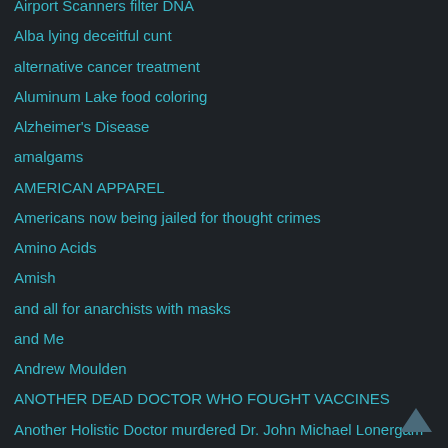Airport Scanners filter DNA
Alba lying deceitful cunt
alternative cancer treatment
Aluminum Lake food coloring
Alzheimer's Disease
amalgams
AMERICAN APPAREL
Americans now being jailed for thought crimes
Amino Acids
Amish
and all for anarchists with masks
and Me
Andrew Moulden
ANOTHER DEAD DOCTOR WHO FOUGHT VACCINES
Another Holistic Doctor murdered Dr. John Michael Lonergam